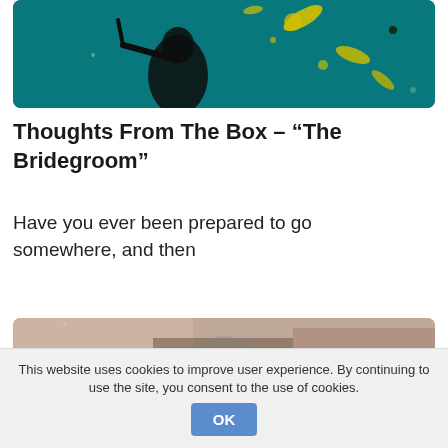[Figure (illustration): Dark underwater or night-sky themed illustration with a dark silhouetted figure and yellow glowing shapes/dots on a teal-green background]
Thoughts From The Box – “The Bridegroom”
Have you ever been prepared to go somewhere, and then
[Figure (photo): Blurry pinkish-brown and grey textured photo, possibly a close-up of a surface or landscape]
This website uses cookies to improve user experience. By continuing to use the site, you consent to the use of cookies.